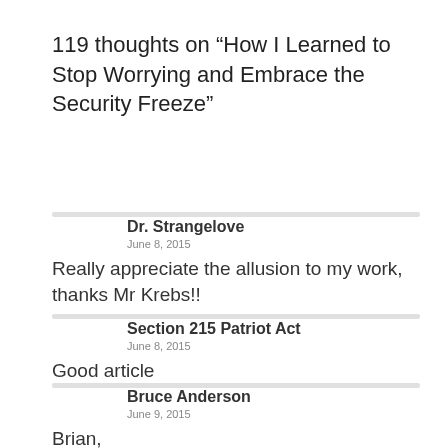119 thoughts on “How I Learned to Stop Worrying and Embrace the Security Freeze”
Dr. Strangelove
June 8, 2015
Really appreciate the allusion to my work, thanks Mr Krebs!!
Section 215 Patriot Act
June 8, 2015
Good article
Bruce Anderson
June 9, 2015
Brian,
This was a very helpful article in helping people manage identity theft. Keep up the great work.